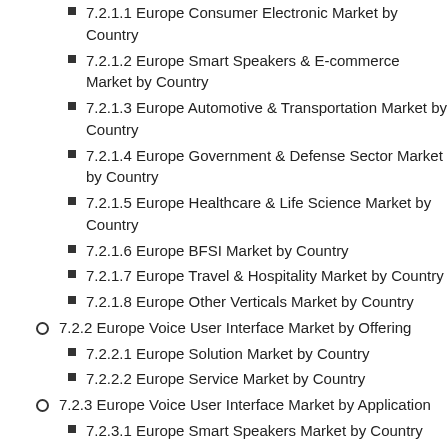7.2.1.1 Europe Consumer Electronic Market by Country
7.2.1.2 Europe Smart Speakers & E-commerce Market by Country
7.2.1.3 Europe Automotive & Transportation Market by Country
7.2.1.4 Europe Government & Defense Sector Market by Country
7.2.1.5 Europe Healthcare & Life Science Market by Country
7.2.1.6 Europe BFSI Market by Country
7.2.1.7 Europe Travel & Hospitality Market by Country
7.2.1.8 Europe Other Verticals Market by Country
7.2.2 Europe Voice User Interface Market by Offering
7.2.2.1 Europe Solution Market by Country
7.2.2.2 Europe Service Market by Country
7.2.3 Europe Voice User Interface Market by Application
7.2.3.1 Europe Smart Speakers Market by Country
7.2.3.2 Europe Interactive Voice Response Market by Country
7.2.3.3 Europe Voice Controlled Devices Market by